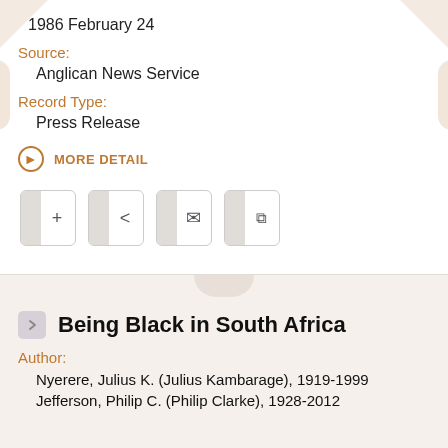1986 February 24
Source:
Anglican News Service
Record Type:
Press Release
MORE DETAIL
Being Black in South Africa
Author:
Nyerere, Julius K. (Julius Kambarage), 1919-1999
Jefferson, Philip C. (Philip Clarke), 1928-2012